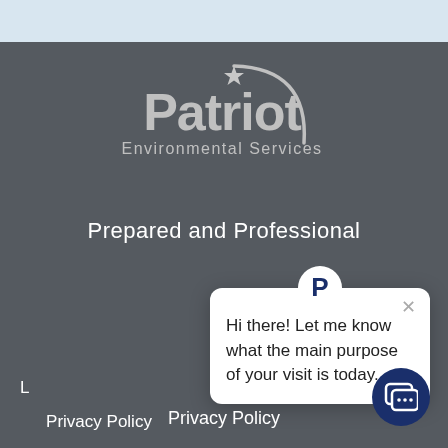[Figure (logo): Patriot Environmental Services logo — white/grey text with arc and star graphic on dark background]
Prepared and Professional
[Figure (screenshot): Chat popup widget with Patriot 'P' icon, close button, and message: Hi there! Let me know what the main purpose of your visit is today.]
Privacy Policy
Environmental Services
Waste Services